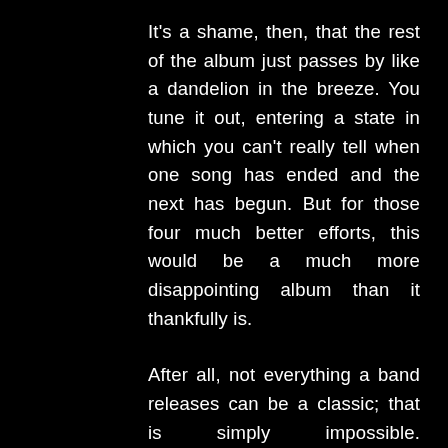It's a shame, then, that the rest of the album just passes by like a dandelion in the breeze. You tune it out, entering a state in which you can't really tell when one song has ended and the next has begun. But for those four much better efforts, this would be a much more disappointing album than it thankfully is.
After all, not everything a band releases can be a classic; that is simply impossible. Fortunately, they were able to conjure up some brilliant tunes when it mattered, and as a result, though we get an album that may be more filler than killer, the killers really save it. It is inconsistent, but when it nails it, you'll